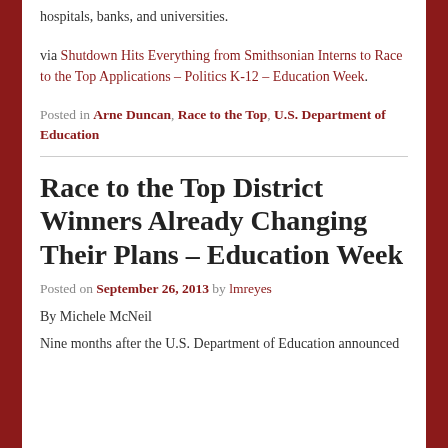hospitals, banks, and universities.
via Shutdown Hits Everything from Smithsonian Interns to Race to the Top Applications – Politics K-12 – Education Week.
Posted in Arne Duncan, Race to the Top, U.S. Department of Education
Race to the Top District Winners Already Changing Their Plans – Education Week
Posted on September 26, 2013 by lmreyes
By Michele McNeil
Nine months after the U.S. Department of Education announced